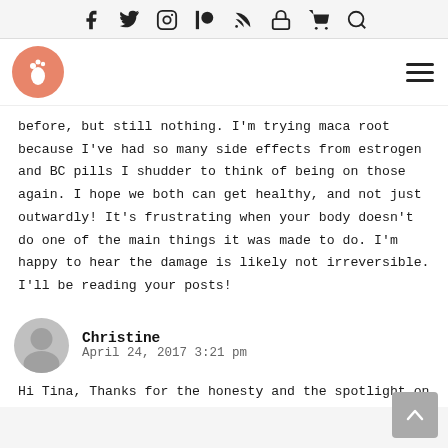Social media icons: Facebook, Twitter, Instagram, Patreon, RSS, Lock, Cart, Search
[Figure (logo): Circular salmon/orange logo with a foot/plant icon]
before, but still nothing. I'm trying maca root because I've had so many side effects from estrogen and BC pills I shudder to think of being on those again. I hope we both can get healthy, and not just outwardly! It's frustrating when your body doesn't do one of the main things it was made to do. I'm happy to hear the damage is likely not irreversible. I'll be reading your posts!
Christine
April 24, 2017 3:21 pm
Hi Tina, Thanks for the honesty and the spotlight on